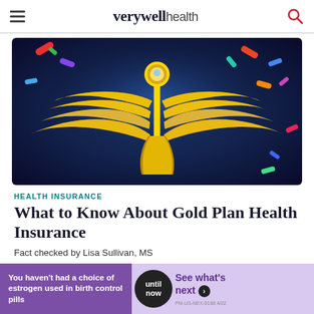verywell health
[Figure (illustration): Golden winged caduceus medical symbol with colorful pills floating in a dark blue background]
HEALTH INSURANCE
What to Know About Gold Plan Health Insurance
Fact checked by Lisa Sullivan, MS
[Figure (infographic): Advertisement banner: 'You haven't had a choice of estrogen used in birth control pills' — until now — See what's next. PM-US-NEX-0188 4/22]